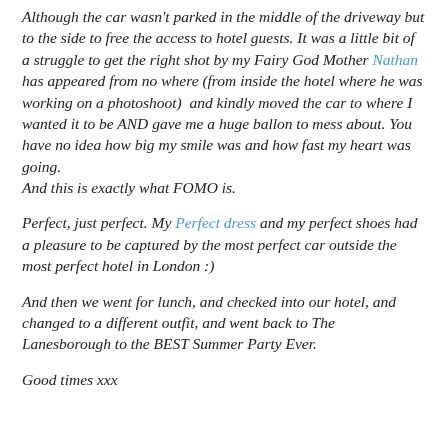Although the car wasn't parked in the middle of the driveway but to the side to free the access to hotel guests. It was a little bit of a struggle to get the right shot by my Fairy God Mother Nathan has appeared from no where (from inside the hotel where he was working on a photoshoot)  and kindly moved the car to where I wanted it to be AND gave me a huge ballon to mess about. You have no idea how big my smile was and how fast my heart was going.
And this is exactly what FOMO is.
Perfect, just perfect. My Perfect dress and my perfect shoes had a pleasure to be captured by the most perfect car outside the most perfect hotel in London :)
And then we went for lunch, and checked into our hotel, and changed to a different outfit, and went back to The Lanesborough to the BEST Summer Party Ever.
Good times xxx